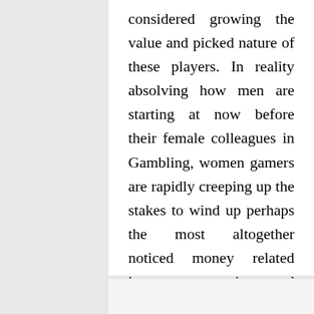considered growing the value and picked nature of these players. In reality absolving how men are starting at now before their female colleagues in Gambling, women gamers are rapidly creeping up the stakes to wind up perhaps the most altogether noticed money related issues to premium and inside quite a long while, they will wind up being the most sharp party to wager on.
Posted In Betting